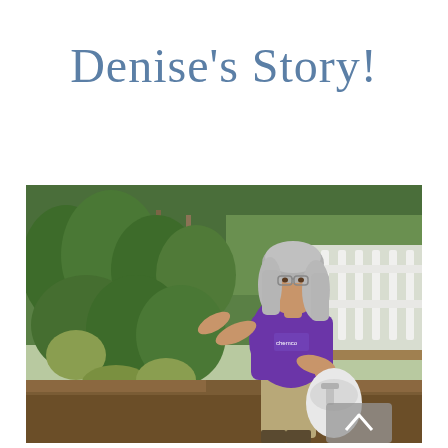Denise's Story!
[Figure (photo): A woman with long gray hair and glasses wearing a purple t-shirt tends to tall tomato plants in a garden, holding a white sprayer. White picket fence and raised garden beds visible in background.]